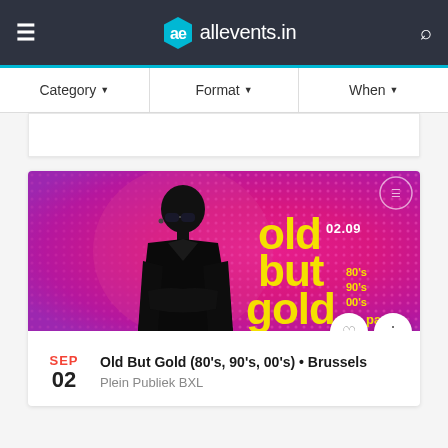ae allevents.in
Category ▾   Format ▾   When ▾
[Figure (photo): Event promotional image for 'Old But Gold 80s 90s 00s party' on 02.09. Hot pink/magenta background with dotted halftone pattern, bald man in black suit and sunglasses on the left, large yellow bold text reading 'old but gold' with '02.09' and '80s 90s 00s party' labels on the right.]
SEP 02  Old But Gold (80's, 90's, 00's) • Brussels
Plein Publiek BXL